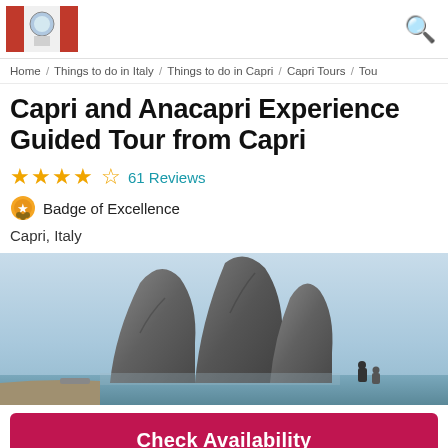Travel website header with logo and search icon
Home / Things to do in Italy / Things to do in Capri / Capri Tours / Tou
Capri and Anacapri Experience Guided Tour from Capri
★★★★½ 61 Reviews
Badge of Excellence
Capri, Italy
[Figure (photo): Faraglioni rock formations in the sea at Capri, Italy, with clear sky background and a person visible in the foreground]
Check Availability